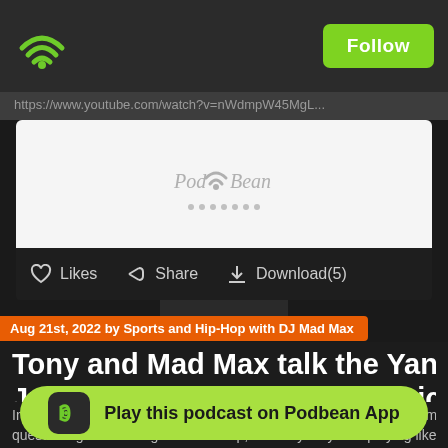[Figure (screenshot): Podbean podcast app interface screenshot showing a podcast episode page with WiFi/podcast icon logo, Follow button, YouTube URL bar, Podbean audio player, Likes/Share/Download actions, date badge, episode title, description text, and Play on Podbean App button]
https://www.youtube.com/watch?v=nWdmpW45MgL...
Likes   Share   Download(5)
Aug 21st, 2022 by Sports and Hip-Hop with DJ Mad Max
Tony and Mad Max talk the Yankees s... July, Zach Wilson, Nets, & Knicks on B...
In this episode, we talked about the Yankees losing a lot of their gam... questioning Aaron Judge's leadership, and why they lack playing like... Mets, and Astros. We discussed Malhi Baatan and Zach Wilson's in...
Play this podcast on Podbean App